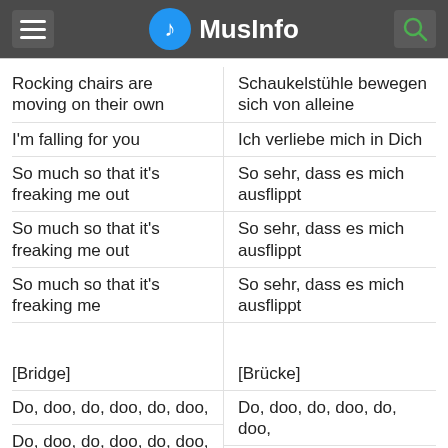MusInfo
Rocking chairs are moving on their own
Schaukelstühle bewegen sich von alleine
I'm falling for you
Ich verliebe mich in Dich
So much so that it's freaking me out
So sehr, dass es mich ausflippt
So much so that it's freaking me out
So sehr, dass es mich ausflippt
So much so that it's freaking me
So sehr, dass es mich ausflippt
[Bridge]
[Brücke]
Do, doo, do, doo, do, doo,
Do, doo, do, doo, do, doo,
Do, doo, do, doo, do, doo, doo, do
Do, doo, do, doo, do, doo, doo, do